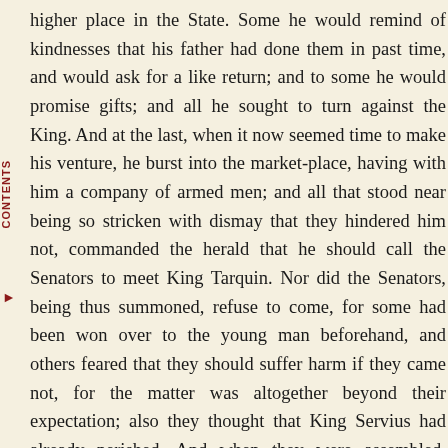higher place in the State. Some he would remind of kindnesses that his father had done them in past time, and would ask for a like return; and to some he would promise gifts; and all he sought to turn against the King. And at the last, when it now seemed time to make his venture, he burst into the market-place, having with him a company of armed men; and all that stood near being so stricken with dismay that they hindered him not, commanded the herald that he should call the Senators to meet King Tarquin. Nor did the Senators, being thus summoned, refuse to come, for some had been won over to the young man beforehand, and others feared that they should suffer harm if they came not, for the matter was altogether beyond their expectation; also they thought that King Servius had already perished. And when they were assembled, Tarquin sat down upon the throne and spake in some such fashion as this: "The slave that was the son of a slave-woman seized the kingdom when the King my father had been shamefully slain. Neither was there any counsel holden before action